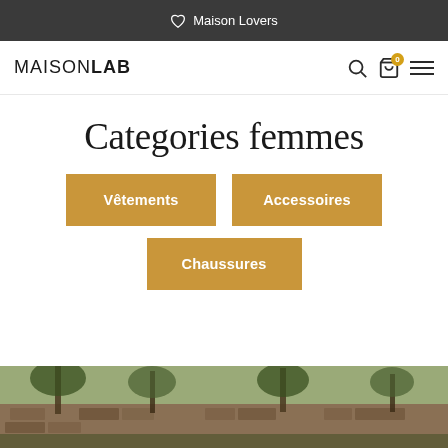Maison Lovers
MAISONLAB
Categories femmes
Vêtements
Accessoires
Chaussures
[Figure (photo): Outdoor nature photo showing trees and stone wall in warm earthy tones]